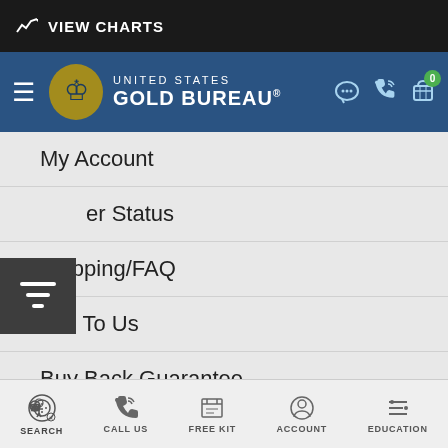VIEW CHARTS
[Figure (logo): United States Gold Bureau logo with eagle emblem on blue navigation bar]
My Account
Order Status
Shipping/FAQ
Sell To Us
Buy Back Guarantee
Refunds & Returns
OUR COMPANY
About Us
SEARCH  CALL US  FREE KIT  ACCOUNT  EDUCATION